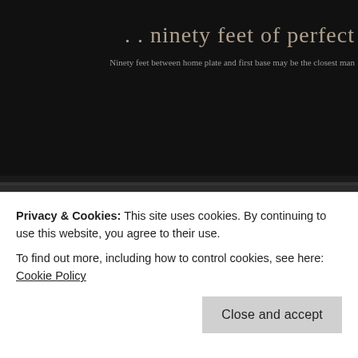.. ninety feet of perfect
Ninety feet between home plate and first base may be the closest man
[Figure (photo): Black and white panoramic photograph of a vintage baseball game in progress at a stadium with a large crowd, outfield advertising signs, and industrial buildings visible in the background. A second partial photo is visible to the right.]
Remembering Tony Clynn
Privacy & Cookies: This site uses cookies. By continuing to use this website, you agree to their use.
To find out more, including how to control cookies, see here: Cookie Policy
Close and accept